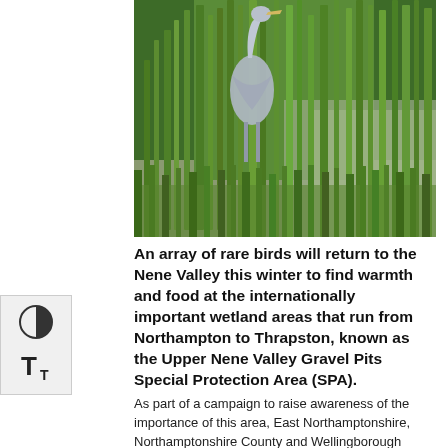[Figure (photo): A grey heron standing among tall green reeds and grass near water in the Nene Valley wetlands.]
An array of rare birds will return to the Nene Valley this winter to find warmth and food at the internationally important wetland areas that run from Northampton to Thrapston, known as the Upper Nene Valley Gravel Pits Special Protection Area (SPA).
As part of a campaign to raise awareness of the importance of this area, East Northamptonshire, Northamptonshire County and Wellingborough Councils, helped by the